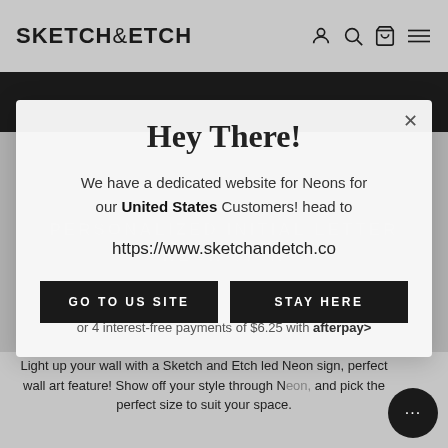SKETCH&ETCH
[Figure (screenshot): Dark hero banner image showing neon letter signs on wall]
[Figure (screenshot): Product page background showing personalized neon sign with text PERSONALIZED INITIAL LETTER NEON SIGN]
Hey There!
We have a dedicated website for Neons for our United States Customers! head to https://www.sketchandetch.co
GO TO US SITE
STAY HERE
or 4 interest-free payments of $6.25 with afterpay>
Light up your wall with a Sketch and Etch led Neon sign, perfect wall art feature! Show off your style through Neon, and pick the perfect size to suit your space.